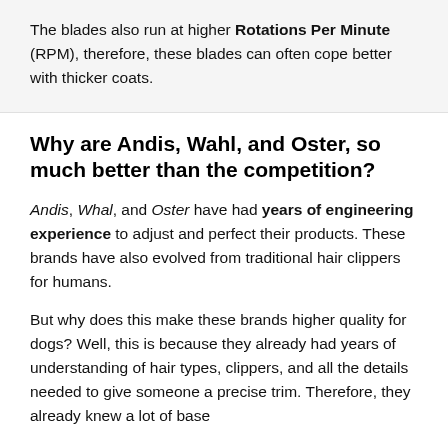The blades also run at higher Rotations Per Minute (RPM), therefore, these blades can often cope better with thicker coats.
Why are Andis, Wahl, and Oster, so much better than the competition?
Andis, Whal, and Oster have had years of engineering experience to adjust and perfect their products. These brands have also evolved from traditional hair clippers for humans.
But why does this make these brands higher quality for dogs? Well, this is because they already had years of understanding of hair types, clippers, and all the details needed to give someone a precise trim. Therefore, they already knew a lot of base